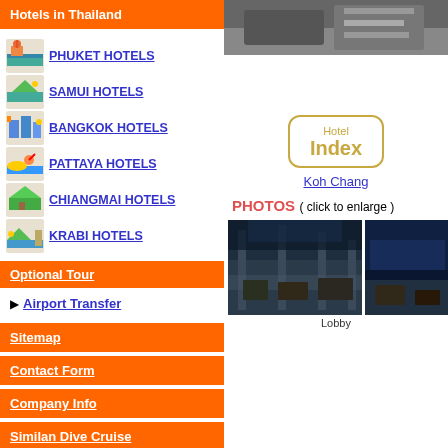Hotels in Thailand
PHUKET HOTELS
SAMUI HOTELS
BANGKOK HOTELS
PATTAYA HOTELS
CHIANGMAI HOTELS
KRABI HOTELS
Optional Tour
Airport Transfer
Sitemap
Contact Form
Company Info
Similan Dive Cruise
[Figure (photo): Hotel room/amenity photo at top of right column]
[Figure (infographic): Hotel Index widget with rounded golden border showing 'Hotel Index' label]
Koh Chang
PHOTOS ( click to enlarge )
[Figure (photo): Lobby photo - nighttime interior with columns and seating]
Lobby